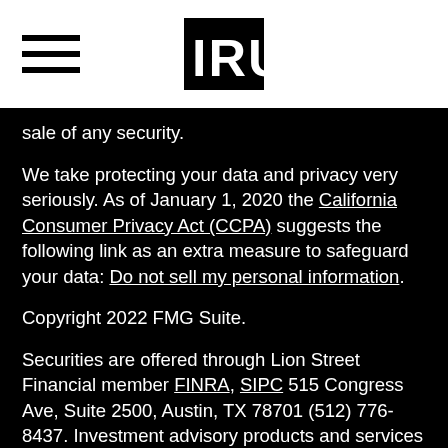IRUS [logo with hamburger menu]
sale of any security.
We take protecting your data and privacy very seriously. As of January 1, 2020 the California Consumer Privacy Act (CCPA) suggests the following link as an extra measure to safeguard your data: Do not sell my personal information.
Copyright 2022 FMG Suite.
Securities are offered through Lion Street Financial member FINRA, SIPC 515 Congress Ave, Suite 2500, Austin, TX 78701 (512) 776-8437. Investment advisory products and services are offered through IRUS Advisory, an investment advisor registered with the SEC. Lion Street